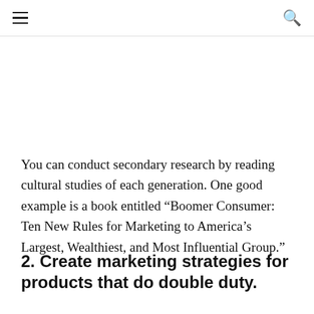≡  🔍
You can conduct secondary research by reading cultural studies of each generation. One good example is a book entitled “Boomer Consumer: Ten New Rules for Marketing to America’s Largest, Wealthiest, and Most Influential Group.”
2. Create marketing strategies for products that do double duty.